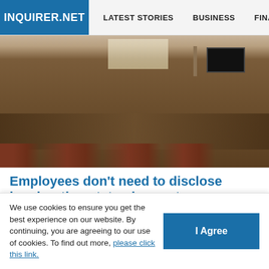INQUIRER.NET | LATEST STORIES | BUSINESS | FINANCE | TECHNOLO
[Figure (photo): Empty courtroom interior with wooden paneling, rows of chairs, desks, a TV screen, and an American flag in the background]
Employees don’t need to disclose immigration status in court
[Figure (photo): Concert or stage event with red and purple laser lights, performer silhouette, and a glowing circular stage light]
We use cookies to ensure you get the best experience on our website. By continuing, you are agreeing to our use of cookies. To find out more, please click this link.